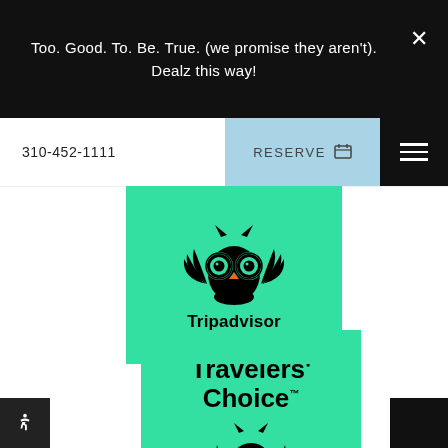Too. Good. To. Be. True. (we promise they aren't). Dealz this way!
310-452-1111
RESERVE
[Figure (logo): Tripadvisor owl logo badge on green background]
[Figure (logo): Tripadvisor 2022 Travelers' Choice badge on green background with owl logo]